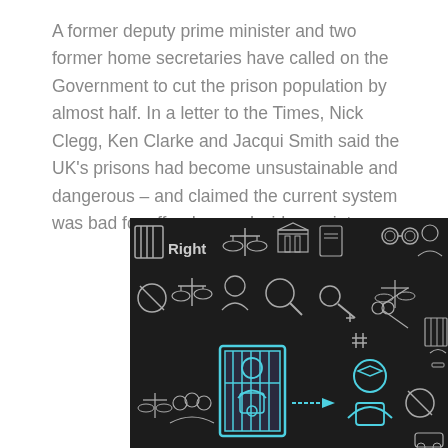A former deputy prime minister and two former home secretaries have called on the Government to cut the prison population by almost half. In a letter to the Times, Nick Clegg, Ken Clarke and Jacqui Smith said the UK's prisons had become unsustainable and dangerous – and claimed the current system was bad for offenders and wider society.
[Figure (illustration): A dark chalkboard-style illustration featuring legal and justice icons drawn in chalk, including scales of justice, prison bars, handcuffs, a passport, a courthouse, and figures representing a prisoner being released, with the word 'Right' visible.]